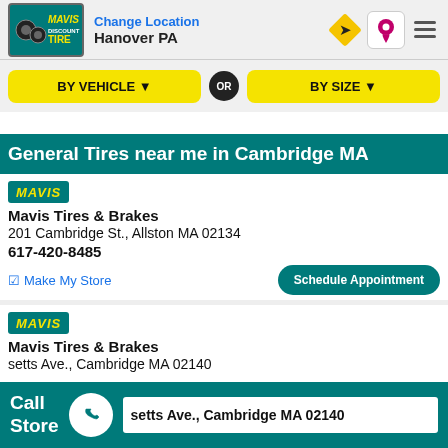[Figure (logo): Mavis Discount Tire logo in teal box with yellow text]
Change Location
Hanover PA
[Figure (infographic): Navigation sign icon, location pin icon, and hamburger menu icon]
[Figure (infographic): BY VEHICLE dropdown button and BY SIZE dropdown button with OR circle between them]
General Tires near me in Cambridge MA
[Figure (logo): Mavis badge in teal with yellow italic text]
Mavis Tires & Brakes
201 Cambridge St., Allston MA 02134
617-420-8485
Make My Store
Schedule Appointment
[Figure (logo): Mavis badge in teal with yellow italic text]
Mavis Tires & Brakes
setts Ave., Cambridge MA 02140
Call
Store